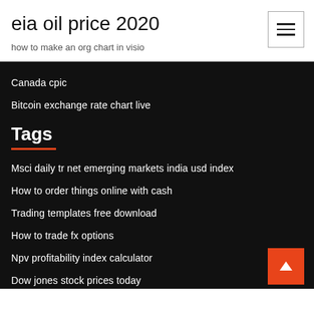eia oil price 2020
how to make an org chart in visio
Canada cpic
Bitcoin exchange rate chart live
Tags
Msci daily tr net emerging markets india usd index
How to order things online with cash
Trading templates free download
How to trade fx options
Npv profitability index calculator
Dow jones stock prices today